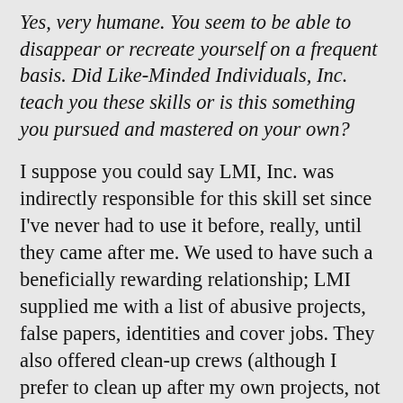Yes, very humane. You seem to be able to disappear or recreate yourself on a frequent basis. Did Like-Minded Individuals, Inc. teach you these skills or is this something you pursued and mastered on your own?
I suppose you could say LMI, Inc. was indirectly responsible for this skill set since I've never had to use it before, really, until they came after me. We used to have such a beneficially rewarding relationship; LMI supplied me with a list of abusive projects, false papers, identities and cover jobs. They also offered clean-up crews (although I prefer to clean up after my own projects, not afraid to dirty my hands by good, honest work), and many other perks. All for a hefty price tag, of course. It was very nice. For a